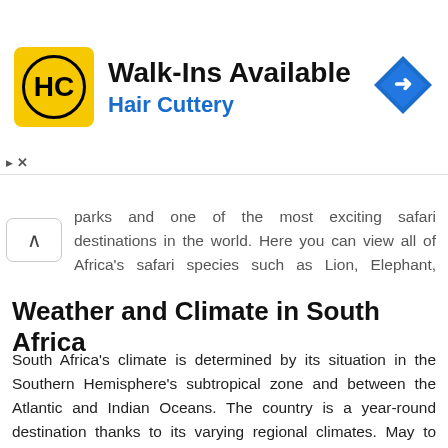[Figure (infographic): Hair Cuttery advertisement banner with logo, 'Walk-Ins Available' text, and blue navigation arrow icon]
parks and one of the most exciting safari destinations in the world. Here you can view all of Africa's safari species such as Lion, Elephant, Rhino, Leopard, Buffalo, Hippo, and Giraffe along with more than 100 mammal species and 500 varieties of bird.
Weather and Climate in South Africa
South Africa's climate is determined by its situation in the Southern Hemisphere's subtropical zone and between the Atlantic and Indian Oceans. The country is a year-round destination thanks to its varying regional climates. May to September is the Dry Season with little to no rain. The days are mostly sunny, but it gets cold in the evenings and mornings. The average temperature during this season is around 14 °C with June to August as the coldest months. The wet season starts in October and ends in April. There will be occasional short rain showers in the afternoon. The average temperature during the wet season is around 20 °C, but it can also